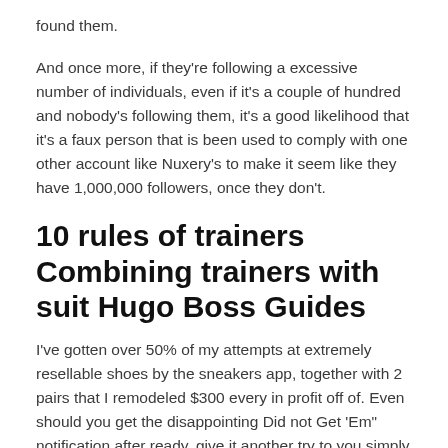found them.
And once more, if they're following a excessive number of individuals, even if it's a couple of hundred and nobody's following them, it's a good likelihood that it's a faux person that is been used to comply with one other account like Nuxery's to make it seem like they have 1,000,000 followers, once they don't.
10 rules of trainers Combining trainers with suit Hugo Boss Guides
I've gotten over 50% of my attempts at extremely resellable shoes by the sneakers app, together with 2 pairs that I remodeled $300 every in profit off of. Even should you get the disappointing Did not Get 'Em" notification after ready, give it another try to you simply might get fortunate. You